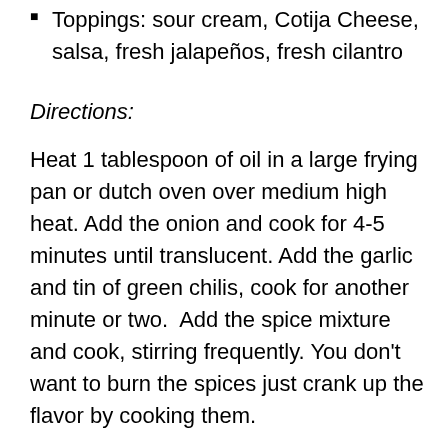Toppings: sour cream, Cotija Cheese, salsa, fresh jalapeños, fresh cilantro
Directions:
Heat 1 tablespoon of oil in a large frying pan or dutch oven over medium high heat. Add the onion and cook for 4-5 minutes until translucent. Add the garlic and tin of green chilis, cook for another minute or two.  Add the spice mixture and cook, stirring frequently. You don't want to burn the spices just crank up the flavor by cooking them.
Add the lentils, salsa and 6 ounces of the beer and stir to combine. Let cook for 2-3 minutes. Using a potato masher or fork, gently mash the lentils until the mixture reaches the consistency you are happy with. Cook another few minutes until hot. If the lentils start to dry